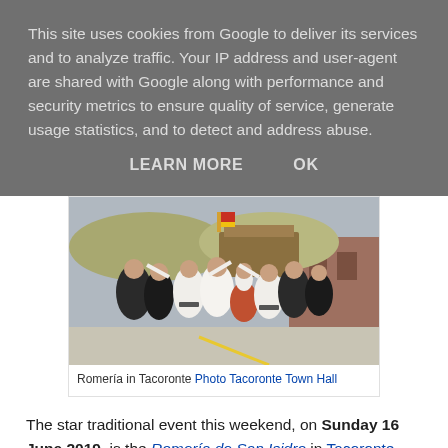This site uses cookies from Google to deliver its services and to analyze traffic. Your IP address and user-agent are shared with Google along with performance and security metrics to ensure quality of service, generate usage statistics, and to detect and address abuse.
LEARN MORE   OK
[Figure (photo): People in traditional folk costumes dancing in the street during the Romería in Tacoronte. Buildings and a float visible in the background.]
Romería in Tacoronte Photo Tacoronte Town Hall
The star traditional event this weekend, on Sunday 16 June 2019, is the Romería de San Isidro in Tacoronte, about which, sadly, I can find no further details online, but suffice to say it will be a day filled with the usual measures of music...